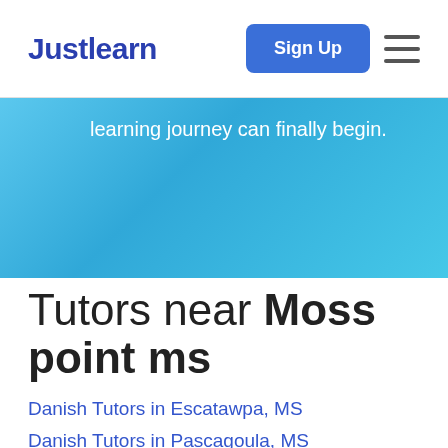Justlearn
learning journey can finally begin.
Tutors near Moss point ms
Danish Tutors in Escatawpa, MS
Danish Tutors in Pascagoula, MS
Danish Tutors in Gautier, MS
Danish Tutors in Helena, MS
Danish Tutors in Hickory Hills, MS
Danish Tutors in Grand Bay, AL
Danish Tutors in Vancleave, MS
Danish Tutors in Gulf Park Estates, MS
Danish Tutors in Wade, MS